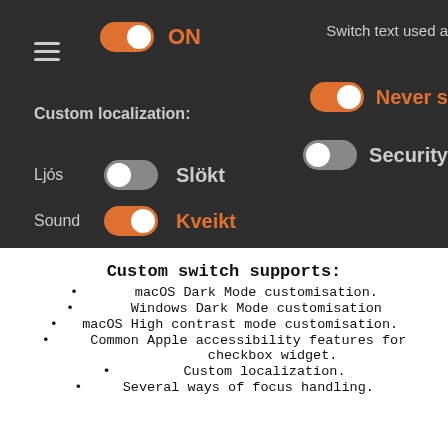[Figure (screenshot): Dark-themed UI screenshot showing toggle switches: ON toggle (orange, on), custom localization label, Ljós toggle (grey, off, labeled Slökt), Sound toggle (orange, on, labeled Kveikt), and partial right-side elements showing Never s[lept] and Security toggles with text 'Switch text used a'.]
Custom switch supports:
macOS Dark Mode customisation.
Windows Dark Mode customisation
macOS High contrast mode customisation.
Common Apple accessibility features for checkbox widget.
Custom localization.
Several ways of focus handling.